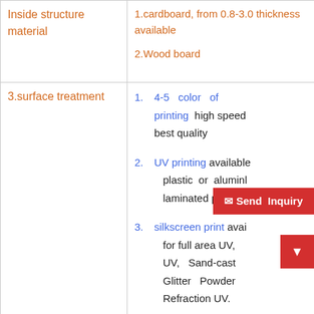|  |  |
| --- | --- |
| Inside structure material | 1.cardboard, from 0.8-3.0 thickness available
2.Wood board |
| 3.surface treatment | 1. 4-5 color offset printing high speed best quality
2. UV printing available plastic or alumin laminated paper print
3. silkscreen print avail for full area UV, UV, Sand-cast Glitter Powder Refraction UV.
4. lamination, matt or glo film lamination
5. hot stamping gold |